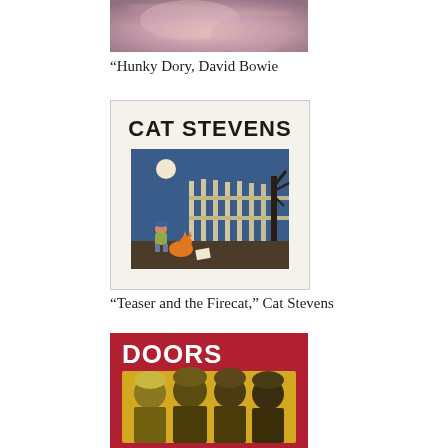[Figure (photo): Top portion of a David Bowie Hunky Dory album cover, cropped, showing pinkish-purple blurred background]
“Hunky Dory, David Bowie
[Figure (illustration): Cat Stevens 'Teaser and the Firecat' album cover with white background, bold black CAT STEVENS text at top, and illustrated scene of a boy and a cat under moonlight by a fence]
“Teaser and the Firecat,” Cat Stevens
[Figure (photo): The Doors album cover with red background, white bold DOORS text at top left, and yellow-toned group photo of four band members]